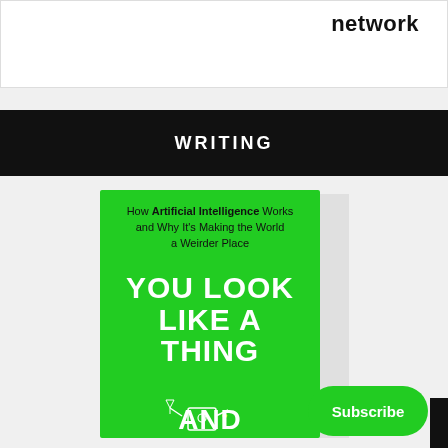network
WRITING
[Figure (photo): Book cover of 'You Look Like a Thing And...' — a green hardcover book with subtitle 'How Artificial Intelligence Works and Why It's Making the World a Weirder Place' and a robot illustration on the cover. A 'Subscribe' green button and a dark back-to-top arrow button are overlaid in the bottom right.]